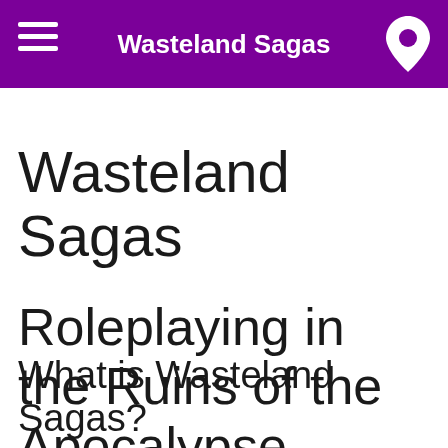Wasteland Sagas
Wasteland Sagas
Roleplaying in the Ruins of the Apocalypse
What is Wasteland Sagas?